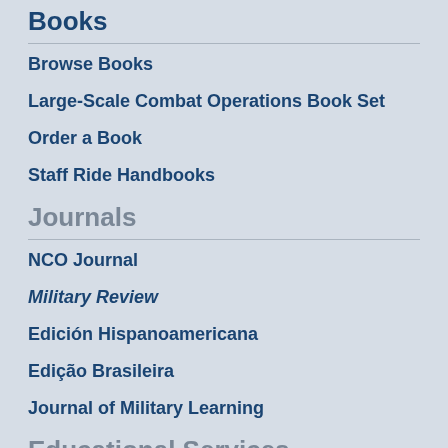Books
Browse Books
Large-Scale Combat Operations Book Set
Order a Book
Staff Ride Handbooks
Journals
NCO Journal
Military Review
Edición Hispanoamericana
Edição Brasileira
Journal of Military Learning
Educational Services